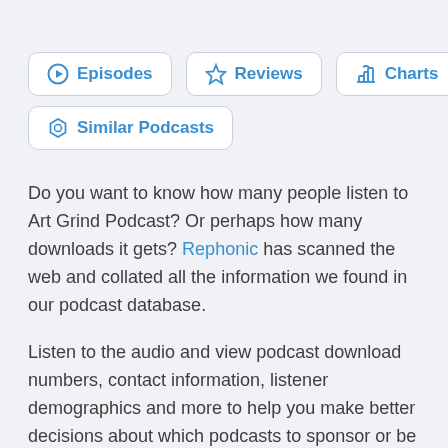Episodes | Reviews | Charts | Similar Podcasts (navigation buttons)
Do you want to know how many people listen to Art Grind Podcast? Or perhaps how many downloads it gets? Rephonic has scanned the web and collated all the information we found in our podcast database.
Listen to the audio and view podcast download numbers, contact information, listener demographics and more to help you make better decisions about which podcasts to sponsor or be a guest on.
Our search tool lets you find other similar podcasts that cover the same topic and allows you to compare the figures, so you